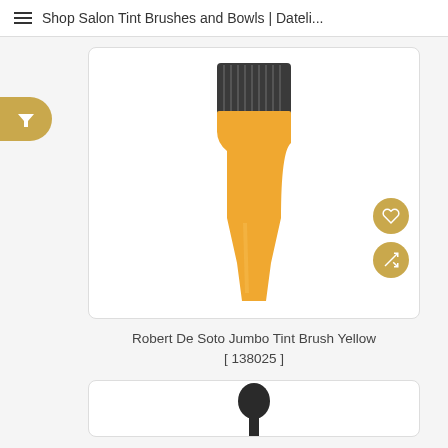Shop Salon Tint Brushes and Bowls | Dateli...
[Figure (photo): A yellow Jumbo Tint Brush with black bristles at the top and a long yellow handle, displayed on a white background inside a product card. Two circular gold action buttons (heart/wishlist and shuffle/compare) are visible at the lower right of the card.]
Robert De Soto Jumbo Tint Brush Yellow
[ 138025 ]
[Figure (photo): Partial view of another product card at the bottom of the page, showing the top of a dark-colored brush.]